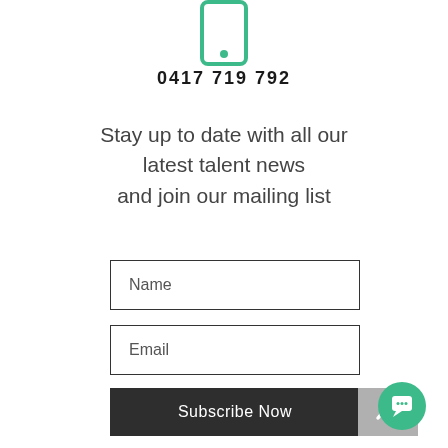[Figure (illustration): Green outline phone icon at top center]
0417 719 792
Stay up to date with all our latest talent news and join our mailing list
Name
Email
Subscribe Now
[Figure (other): Grey back-to-top arrow button]
[Figure (other): Green circular chat bubble icon]